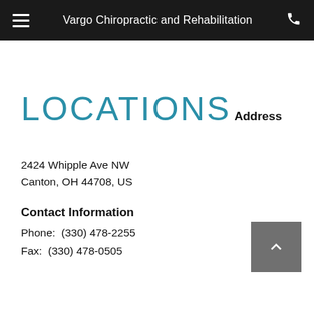Vargo Chiropractic and Rehabilitation
LOCATIONS
Address
2424 Whipple Ave NW
Canton, OH 44708, US
Contact Information
Phone:  (330) 478-2255
Fax:  (330) 478-0505